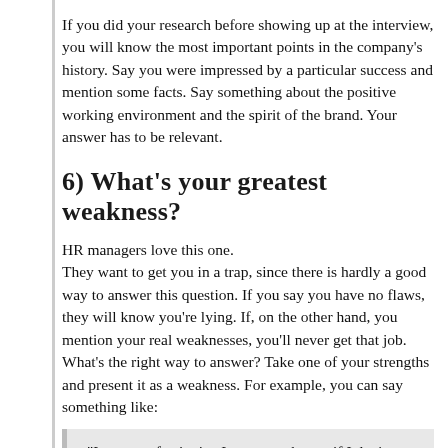If you did your research before showing up at the interview, you will know the most important points in the company's history. Say you were impressed by a particular success and mention some facts. Say something about the positive working environment and the spirit of the brand. Your answer has to be relevant.
6) What's your greatest weakness?
HR managers love this one.
They want to get you in a trap, since there is hardly a good way to answer this question. If you say you have no flaws, they will know you're lying. If, on the other hand, you mention your real weaknesses, you'll never get that job.
What's the right way to answer? Take one of your strengths and present it as a weakness. For example, you can say something like:
“I am a perfectionist. I am never happy if I don’t get the results I aim for.”